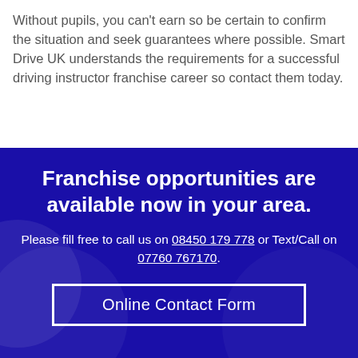Without pupils, you can't earn so be certain to confirm the situation and seek guarantees where possible. Smart Drive UK understands the requirements for a successful driving instructor franchise career so contact them today.
Franchise opportunities are available now in your area.
Please fill free to call us on 08450 179 778 or Text/Call on 07760 767170.
Online Contact Form